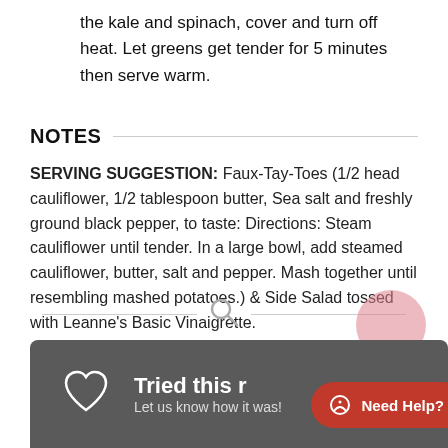the kale and spinach, cover and turn off heat. Let greens get tender for 5 minutes then serve warm.
NOTES
SERVING SUGGESTION: Faux-Tay-Toes (1/2 head cauliflower, 1/2 tablespoon butter, Sea salt and freshly ground black pepper, to taste: Directions: Steam cauliflower until tender. In a large bowl, add steamed cauliflower, butter, salt and pepper. Mash together until resembling mashed potatoes.) & Side Salad tossed with Leanne's Basic Vinaigrette.
[Figure (other): Search icon with horizontal divider lines on either side]
[Figure (other): Dark grey bottom bar with heart icon and 'Tried this recipe? Let us know how it was!' text, plus a red 'Need Help?' button overlay]